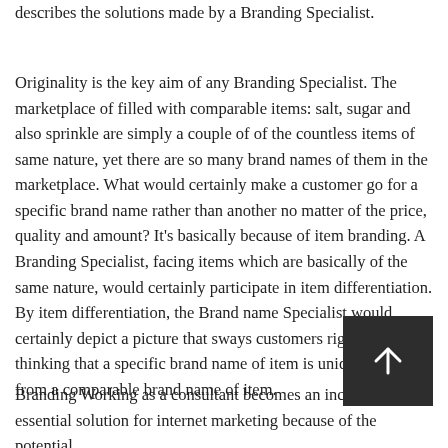describes the solutions made by a Branding Specialist.
Originality is the key aim of any Branding Specialist. The marketplace of filled with comparable items: salt, sugar and also sprinkle are simply a couple of of the countless items of same nature, yet there are so many brand names of them in the marketplace. What would certainly make a customer go for a specific brand name rather than another no matter of the price, quality and amount? It's basically because of item branding. A Branding Specialist, facing items which are basically of the same nature, would certainly participate in item differentiation. By item differentiation, the Brand name Specialist would certainly depict a picture that sways customers right into thinking that a specific brand name of item is uniquely various from a comparable brand name of item.
Branding Working as a consultant becomes an incredibly essential solution for internet marketing because of the potential